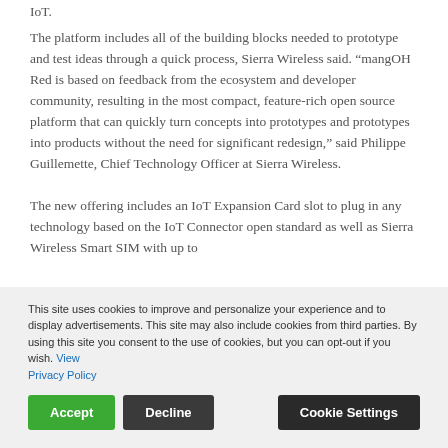IoT.
The platform includes all of the building blocks needed to prototype and test ideas through a quick process, Sierra Wireless said. “mangOH Red is based on feedback from the ecosystem and developer community, resulting in the most compact, feature-rich open source platform that can quickly turn concepts into prototypes and prototypes into products without the need for significant redesign,” said Philippe Guillemette, Chief Technology Officer at Sierra Wireless.
The new offering includes an IoT Expansion Card slot to plug in any technology based on the IoT Connector open standard as well as Sierra Wireless Smart SIM with up to
This site uses cookies to improve and personalize your experience and to display advertisements. This site may also include cookies from third parties. By using this site you consent to the use of cookies, but you can opt-out if you wish. View Privacy Policy
Accept | Decline | Cookie Settings